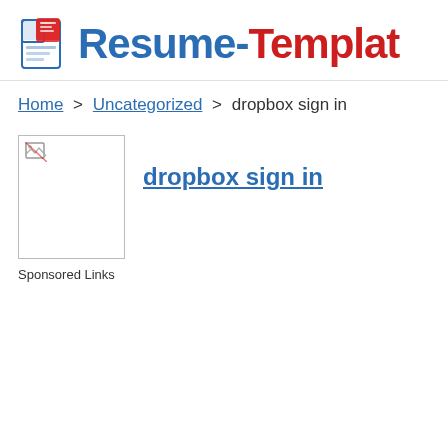Resume-Template
Home > Uncategorized > dropbox sign in
[Figure (logo): Broken image thumbnail placeholder with small icon in top-left corner]
dropbox sign in
Sponsored Links